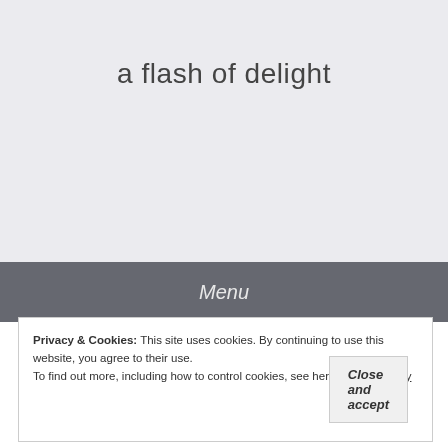a flash of delight
Menu
Privacy & Cookies: This site uses cookies. By continuing to use this website, you agree to their use.
To find out more, including how to control cookies, see here: Cookie Policy
Close and accept